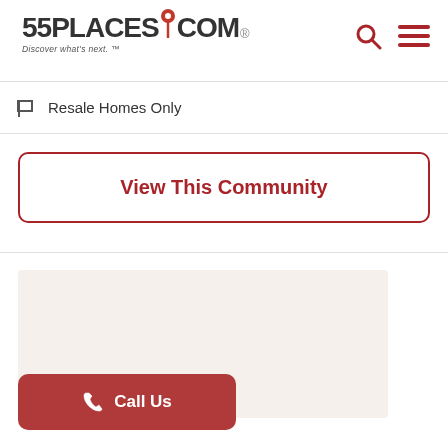55PLACES.COM — Discover what's next.
Resale Homes Only
View This Community
[Figure (other): Beige/cream colored advertisement or content placeholder box]
Call Us